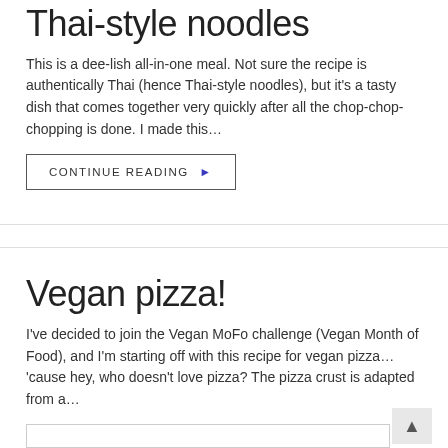Thai-style noodles
This is a dee-lish all-in-one meal. Not sure the recipe is authentically Thai (hence Thai-style noodles), but it's a tasty dish that comes together very quickly after all the chop-chop-chopping is done. I made this…
CONTINUE READING ▶
Vegan pizza!
I've decided to join the Vegan MoFo challenge (Vegan Month of Food), and I'm starting off with this recipe for vegan pizza… 'cause hey, who doesn't love pizza? The pizza crust is adapted from a…
CONTINUE READING ▶